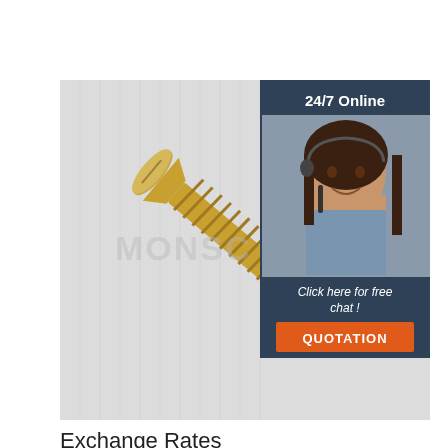[Figure (photo): A gold/brass colored wood screw lying diagonally on a light gray textured background. The screw has a flat countersunk head at the top left and a pointed tip at the bottom right. A partially visible watermark reading 'MONSC' (or similar) is overlaid. In the upper right corner, an overlaid panel shows a customer service representative with a headset smiling, with text '24/7 Online', 'Click here for free chat!', and an orange 'QUOTATION' button.]
Exchange Rates